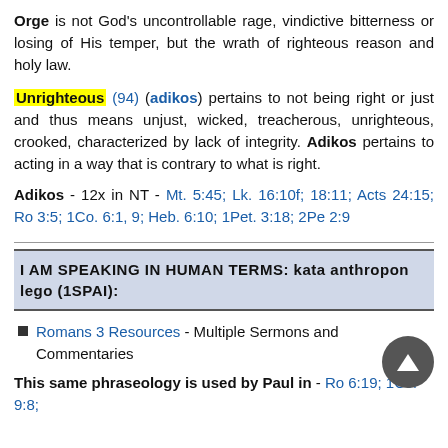Orge is not God's uncontrollable rage, vindictive bitterness or losing of His temper, but the wrath of righteous reason and holy law.
Unrighteous (94) (adikos) pertains to not being right or just and thus means unjust, wicked, treacherous, unrighteous, crooked, characterized by lack of integrity. Adikos pertains to acting in a way that is contrary to what is right.
Adikos - 12x in NT - Mt. 5:45; Lk. 16:10f; 18:11; Acts 24:15; Ro 3:5; 1Co. 6:1, 9; Heb. 6:10; 1Pet. 3:18; 2Pe 2:9
I AM SPEAKING IN HUMAN TERMS: kata anthropon lego (1SPAI):
Romans 3 Resources - Multiple Sermons and Commentaries
This same phraseology is used by Paul in - Ro 6:19; 1Cor 9:8;